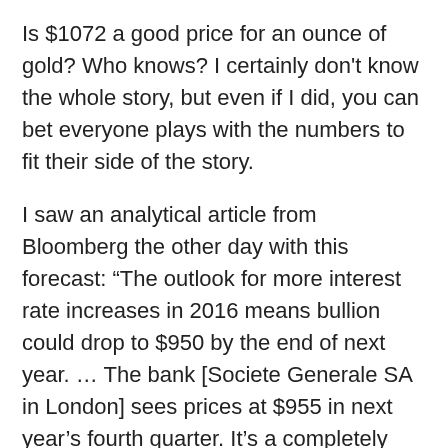Is $1072 a good price for an ounce of gold? Who knows? I certainly don't know the whole story, but even if I did, you can bet everyone plays with the numbers to fit their side of the story.
I saw an analytical article from Bloomberg the other day with this forecast: “The outlook for more interest rate increases in 2016 means bullion could drop to $950 by the end of next year. … The bank [Societe Generale SA in London] sees prices at $955 in next year’s fourth quarter. It’s a completely different era. Maybe it’s not the era of gold anymore. The last decade was a decade of gold. This decade, you’re going to look to something else.”³
All I can say about that is that it’s a good thing for the analyst that the interview ended before he was asked just